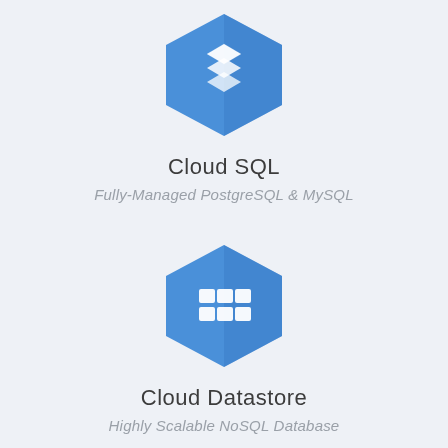[Figure (logo): Google Cloud SQL hexagonal icon in blue with stacked layers symbol]
Cloud SQL
Fully-Managed PostgreSQL & MySQL
[Figure (logo): Google Cloud Datastore hexagonal icon in blue with grid/table symbol]
Cloud Datastore
Highly Scalable NoSQL Database